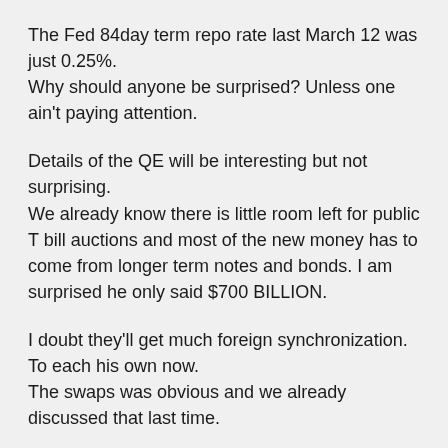The Fed 84day term repo rate last March 12 was just 0.25%.
Why should anyone be surprised? Unless one ain't paying attention.
Details of the QE will be interesting but not surprising.
We already know there is little room left for public T bill auctions and most of the new money has to come from longer term notes and bonds. I am surprised he only said $700 BILLION.
I doubt they'll get much foreign synchronization. To each his own now.
The swaps was obvious and we already discussed that last time.